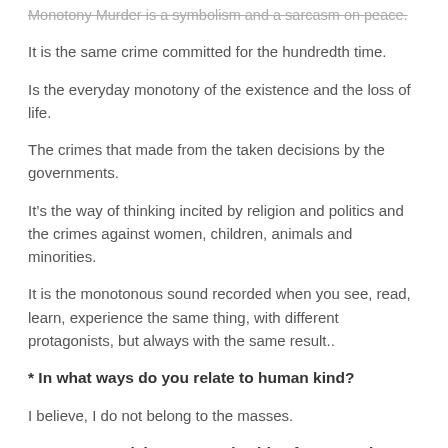Monotony Murder is a symbolism and a sarcasm on peace.
It is the same crime committed for the hundredth time.
Is the everyday monotony of the existence and the loss of life.
The crimes that made from the taken decisions by the governments.
It’s the way of thinking incited by religion and politics and the crimes against women, children, animals and minorities.
It is the monotonous sound recorded when you see, read, learn, experience the same thing, with different protagonists, but always with the same result..
* In what ways do you relate to human kind?
I believe, I do not belong to the masses.
* Can you explain your music video for “Exorcism”
People are controlled and restricted for the most part of their life